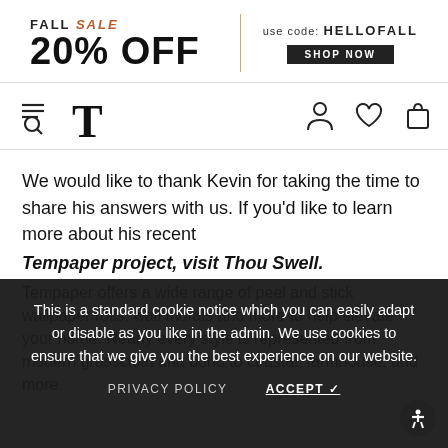[Figure (infographic): Fall Sale banner: FALL SALE (italic orange) 20% OFF with vertical divider, use code: HELLOFALL and SHOP NOW button]
[Figure (infographic): Navigation bar with hamburger/search icon, T logo, and user/heart/bag icons]
We would like to thank Kevin for taking the time to share his answers with us. If you'd like to learn more about his recent
Tempaper project, visit Thou Swell.
Tempaper offers a wide range of peel and stick wallpaper rolls, wall murals and more to help elevate your home. Nearly every style is represented from modern grasscloth and boho to coastal, farmhouse, and more.
This is a standard cookie notice which you can easily adapt or disable as you like in the admin. We use cookies to ensure that we give you the best experience on our website.
PRIVACY POLICY    ACCEPT ✓